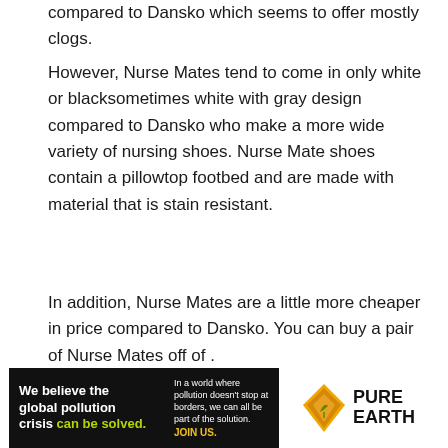compared to Dansko which seems to offer mostly clogs.
However, Nurse Mates tend to come in only white or blacksometimes white with gray design compared to Dansko who make a more wide variety of nursing shoes. Nurse Mate shoes contain a pillowtop footbed and are made with material that is stain resistant.
In addition, Nurse Mates are a little more cheaper in price compared to Dansko. You can buy a pair of Nurse Mates off of .
[Figure (infographic): Pure Earth advertisement banner. Left black section reads: 'We believe the global pollution crisis can be solved.' with 'can be solved.' in green/yellow. Right side of black section reads: 'In a world where pollution doesn't stop at borders, we can all be part of the solution. JOIN US.' White right section shows Pure Earth logo (orange/yellow diamond with leaf motif) and bold black text 'PURE EARTH'.]